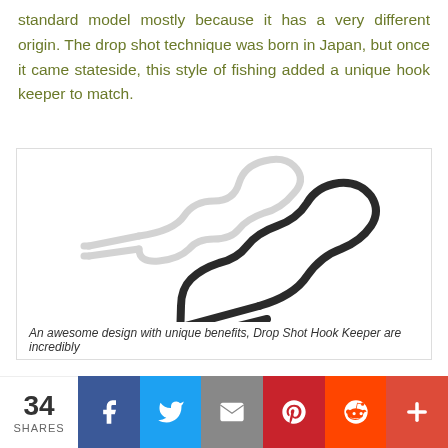standard model mostly because it has a very different origin. The drop shot technique was born in Japan, but once it came stateside, this style of fishing added a unique hook keeper to match.
[Figure (photo): Two drop shot hook keepers — one clear/white and one dark/black — shown on a white background.]
An awesome design with unique benefits, Drop Shot Hook Keeper are incredibly
34 SHARES | Facebook | Twitter | Email | Pinterest | Reddit | More